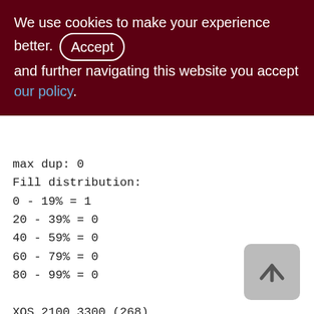We use cookies to make your experience better. By accepting and further navigating this website you accept our policy.
max dup: 0
Fill distribution:
0 - 19% = 1
20 - 39% = 0
40 - 59% = 0
60 - 79% = 0
80 - 99% = 0

XQS_2100_3300 (268)
Primary pointer page: 691, Index root page:
692
Average record length: 63.62, total
records: 042225